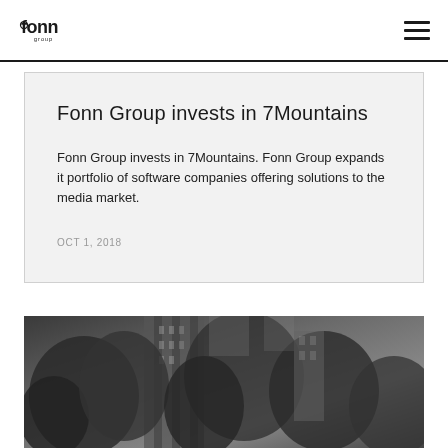Fonn Group [logo] [hamburger menu]
Fonn Group invests in 7Mountains
Fonn Group invests in 7Mountains. Fonn Group expands it portfolio of software companies offering solutions to the media market.
OCT 1, 2018
[Figure (photo): Black and white photograph of a multi-story building partially obscured by trees, shot from street level looking upward.]